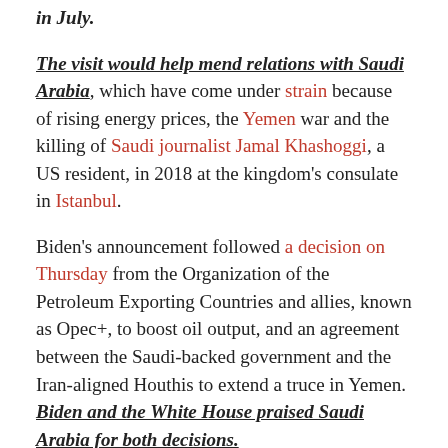in July.
The visit would help mend relations with Saudi Arabia, which have come under strain because of rising energy prices, the Yemen war and the killing of Saudi journalist Jamal Khashoggi, a US resident, in 2018 at the kingdom's consulate in Istanbul.
Biden's announcement followed a decision on Thursday from the Organization of the Petroleum Exporting Countries and allies, known as Opec+, to boost oil output, and an agreement between the Saudi-backed government and the Iran-aligned Houthis to extend a truce in Yemen. Biden and the White House praised Saudi Arabia for both decisions.
The US stance is also changing as it worries about Gulf states' deepening ties with China and Russia.